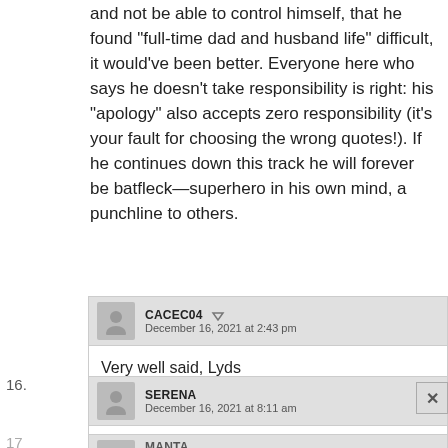and not be able to control himself, that he found “full-time dad and husband life” difficult, it would’ve been better. Everyone here who says he doesn’t take responsibility is right: his “apology” also accepts zero responsibility (it’s your fault for choosing the wrong quotes!). If he continues down this track he will forever be batfleck—superhero in his own mind, a punchline to others.
CACEC04 — December 16, 2021 at 2:43 pm
Very well said, Lyds
16. SERENA — December 16, 2021 at 8:11 am
Still a douchebag. All I hear is “me me me me”. ugh.
17. MANTA